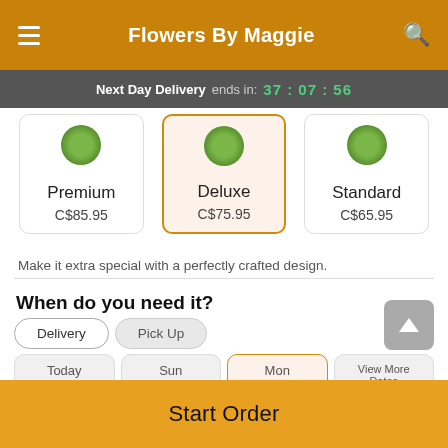Flowers By Maggie
Next Day Delivery ends in: 37 : 07 : 56
Premium C$85.95
Deluxe C$75.95
Standard C$65.95
Make it extra special with a perfectly crafted design.
When do you need it?
Delivery | Pick Up
Today | Sun | Mon | View More Dates